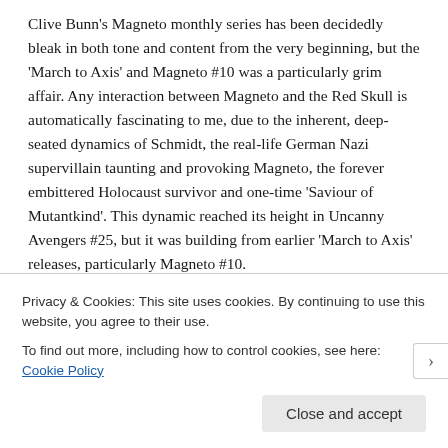Clive Bunn's Magneto monthly series has been decidedly bleak in both tone and content from the very beginning, but the 'March to Axis' and Magneto #10 was a particularly grim affair. Any interaction between Magneto and the Red Skull is automatically fascinating to me, due to the inherent, deep-seated dynamics of Schmidt, the real-life German Nazi supervillain taunting and provoking Magneto, the forever embittered Holocaust survivor and one-time 'Saviour of Mutantkind'. This dynamic reached its height in Uncanny Avengers #25, but it was building from earlier 'March to Axis' releases, particularly Magneto #10.
There's an early page in #10 featuring Quicksilver, Crystal and Luna Maximoff along with Wanda and
Privacy & Cookies: This site uses cookies. By continuing to use this website, you agree to their use.
To find out more, including how to control cookies, see here: Cookie Policy